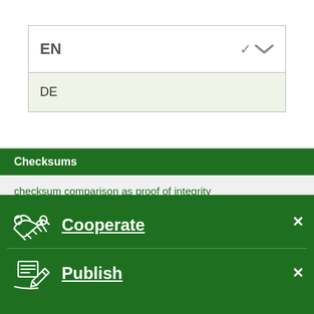[Figure (screenshot): Dropdown selector showing EN selected with chevron, and DE option below on light green background]
Checksums
checksum comparison as proof of integrity
Date of publication
23.11.2011
Cooperate
Publish